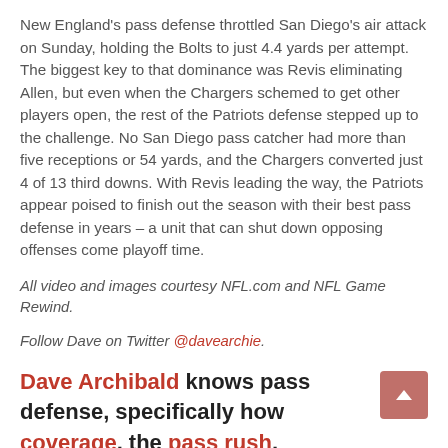New England's pass defense throttled San Diego's air attack on Sunday, holding the Bolts to just 4.4 yards per attempt. The biggest key to that dominance was Revis eliminating Allen, but even when the Chargers schemed to get other players open, the rest of the Patriots defense stepped up to the challenge. No San Diego pass catcher had more than five receptions or 54 yards, and the Chargers converted just 4 of 13 third downs. With Revis leading the way, the Patriots appear poised to finish out the season with their best pass defense in years – a unit that can shut down opposing offenses come playoff time.
All video and images courtesy NFL.com and NFL Game Rewind.
Follow Dave on Twitter @davearchie.
Dave Archibald knows pass defense, specifically how coverage, the pass rush, excellent cornerbacks, versatile safeties and in-game adjustments can make a big